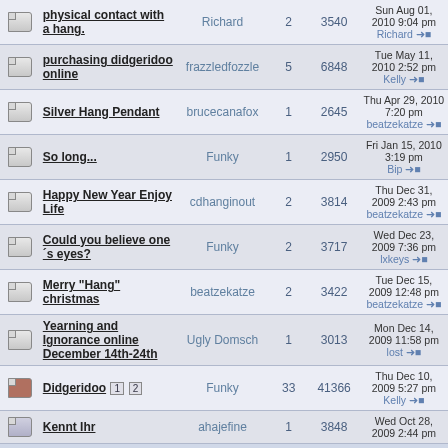|  | Topic | Author | Replies | Views | Last Post |
| --- | --- | --- | --- | --- | --- |
| [icon] | physical contact with a hang. | Richard | 2 | 3540 | Sun Aug 01, 2010 9:04 pm
Richard → |
| [icon] | purchasing didgeridoo online | frazzledfozzle | 5 | 6848 | Tue May 11, 2010 2:52 pm
Kelly → |
| [icon] | Silver Hang Pendant | brucecanafox | 1 | 2645 | Thu Apr 29, 2010 7:20 pm
beatzekatze → |
| [icon] | So long... | Funky | 1 | 2950 | Fri Jan 15, 2010 3:19 pm
Bip → |
| [icon] | Happy New Year Enjoy Life | cdhanginout | 2 | 3814 | Thu Dec 31, 2009 2:43 pm
beatzekatze → |
| [icon] | Could you believe one's eyes? | Funky | 2 | 3717 | Wed Dec 23, 2009 7:36 pm
lxkeys → |
| [icon] | Merry "Hang" christmas | beatzekatze | 2 | 3422 | Tue Dec 15, 2009 12:48 pm
beatzekatze → |
| [icon] | Yearning and Ignorance online December 14th-24th | Ugly Domsch | 1 | 3013 | Mon Dec 14, 2009 11:58 pm
lost → |
| [icon-hot] | Didgeridoo [1][2] | Funky | 33 | 41366 | Thu Dec 10, 2009 5:27 pm
Kelly → |
| [icon] | Kennt Ihr... | ... | 1 | 3848 | Wed Oct 28, 2009 2:44 pm |